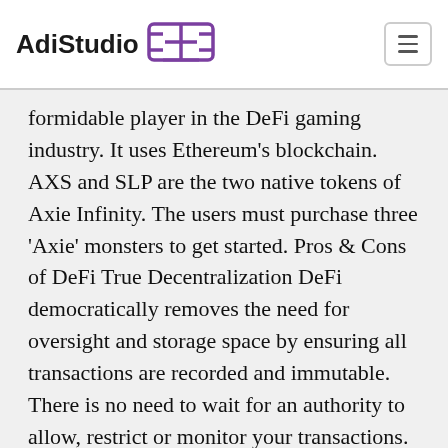AdiStudio
formidable player in the DeFi gaming industry. It uses Ethereum's blockchain. AXS and SLP are the two native tokens of Axie Infinity. The users must purchase three 'Axie' monsters to get started. Pros & Cons of DeFi True Decentralization DeFi democratically removes the need for oversight and storage space by ensuring all transactions are recorded and immutable. There is no need to wait for an authority to allow, restrict or monitor your transactions. Being decentralized also removes the barrier of entry from cryptocurrency. CryptoBlades Collect, Fight, and Earn in this NFT Game! Defi Kingdoms A game, a DEX, a liquidity